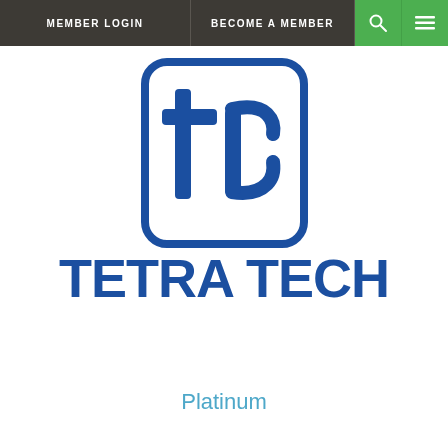MEMBER LOGIN | BECOME A MEMBER
[Figure (logo): Tetra Tech logo: blue rounded square with 'tt' lettermark in blue, and bold blue 'TETRA TECH' wordmark below]
Platinum